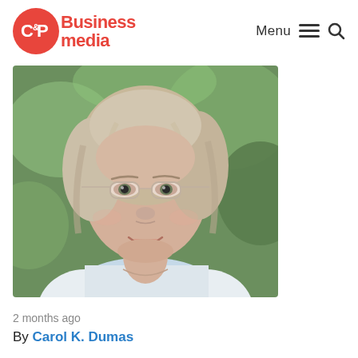C&P Business media — Menu (hamburger) Search
[Figure (photo): Portrait photo of an older woman with shoulder-length light gray-blonde hair, wearing wire-rimmed glasses and a white blouse, smiling, with green foliage in the background.]
2 months ago
By Carol K. Dumas